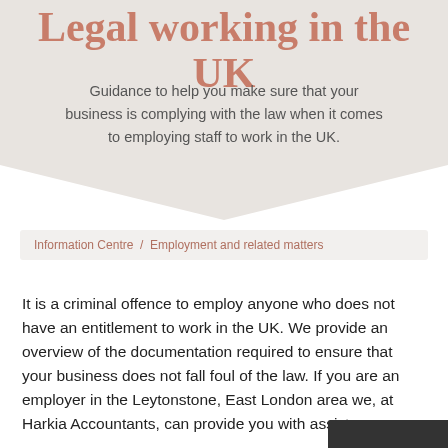Legal working in the UK
Guidance to help you make sure that your business is complying with the law when it comes to employing staff to work in the UK.
Information Centre / Employment and related matters
It is a criminal offence to employ anyone who does not have an entitlement to work in the UK. We provide an overview of the documentation required to ensure that your business does not fall foul of the law. If you are an employer in the Leytonstone, East London area we, at Harkia Accountants, can provide you with assistance...